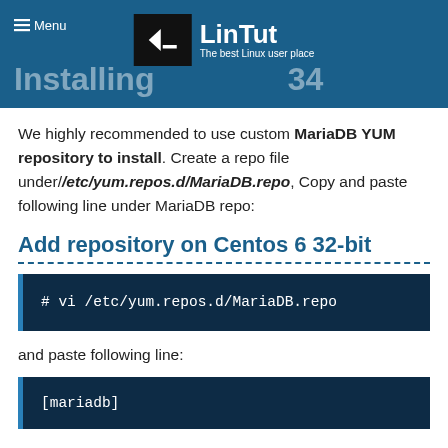Menu | LinTut - The best Linux user place | Installing ...34
We highly recommended to use custom MariaDB YUM repository to install. Create a repo file under/etc/yum.repos.d/MariaDB.repo, Copy and paste following line under MariaDB repo:
Add repository on Centos 6 32-bit
# vi /etc/yum.repos.d/MariaDB.repo
and paste following line:
[mariadb]